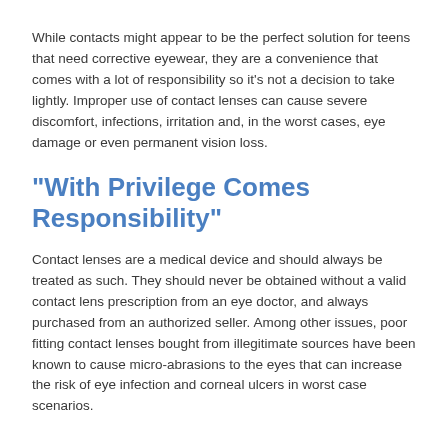While contacts might appear to be the perfect solution for teens that need corrective eyewear, they are a convenience that comes with a lot of responsibility so it's not a decision to take lightly. Improper use of contact lenses can cause severe discomfort, infections, irritation and, in the worst cases, eye damage or even permanent vision loss.
"With Privilege Comes Responsibility"
Contact lenses are a medical device and should always be treated as such. They should never be obtained without a valid contact lens prescription from an eye doctor, and always purchased from an authorized seller. Among other issues, poor fitting contact lenses bought from illegitimate sources have been known to cause micro-abrasions to the eyes that can increase the risk of eye infection and corneal ulcers in worst case scenarios.